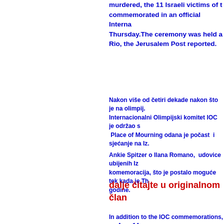murdered, the 11 Israeli victims of t… commemorated in an official Interna… Thursday.The ceremony was held a… Rio, the Jerusalem Post reported.
Nakon više od četiri dekade nakon što je na olimpij… Internacionalni Olimpijski komitet IOC je održao s…  Place of Mourning odana je počast  i sjećanje na Iz…
Ankie Spitzer o Ilana Romano,  udovice ubijenih Iz… komemoracija, što je postalo moguće tek kada je Th… godine.
dalje čitajte u originalnom član…
In addition to the IOC commemorations, an Aug. 14… widows of weightlifter Yossef Romano — who was k… Andre Spitzer, a fencing coach, lighting 11 candles,… from the Israeli Olympic Committee and the Israeli…
[ Back ]